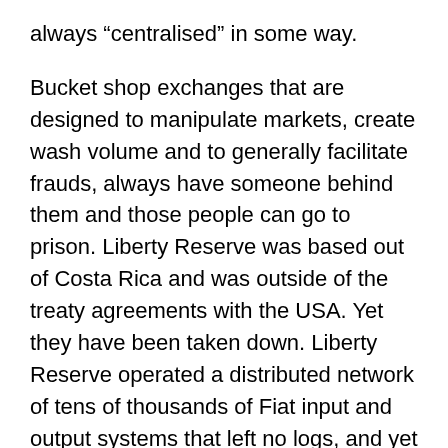always “centralised” in some way.
Bucket shop exchanges that are designed to manipulate markets, create wash volume and to generally facilitate frauds, always have someone behind them and those people can go to prison. Liberty Reserve was based out of Costa Rica and was outside of the treaty agreements with the USA. Yet they have been taken down. Liberty Reserve operated a distributed network of tens of thousands of Fiat input and output systems that left no logs, and yet the people involved have been put in prison.
This is why I created bitcoin. It’s not a protest against government, it’s a method that over time will replace SWIFT with something that cannot be easily bypassed by criminals or even governments.
If you ever wonder why people attack my